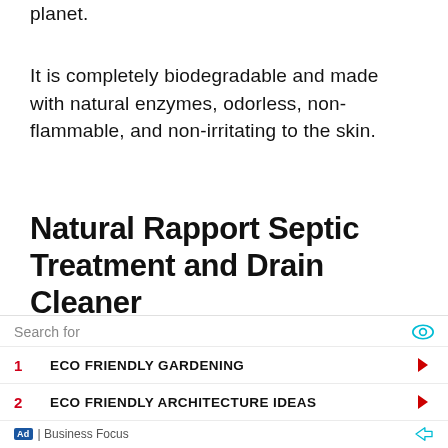planet.
It is completely biodegradable and made with natural enzymes, odorless, non-flammable, and non-irritating to the skin.
Natural Rapport Septic Treatment and Drain Cleaner
[Figure (photo): White plastic bottle of Natural Rapport Septic Treatment and Drain Cleaner product]
Search for
1 ECO FRIENDLY GARDENING
2 ECO FRIENDLY ARCHITECTURE IDEAS
Ad | Business Focus